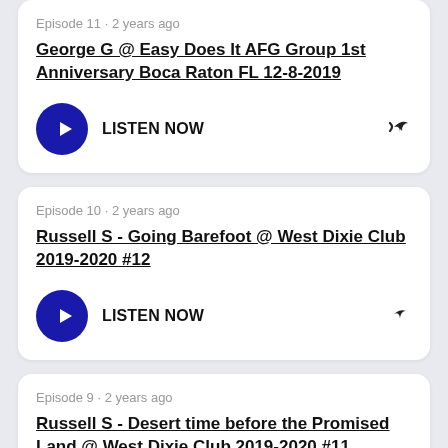Episode 11 · 2 years ago
George G @ Easy Does It AFG Group 1st Anniversary Boca Raton FL 12-8-2019
LISTEN NOW
Episode 10 · 2 years ago
Russell S - Going Barefoot @ West Dixie Club 2019-2020 #12
LISTEN NOW
Episode 9 · 2 years ago
Russell S - Desert time before the Promised Land @ West Dixie Club 2019-2020 #11